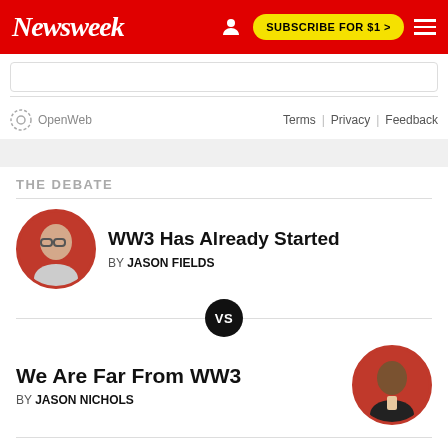Newsweek | SUBSCRIBE FOR $1 >
OpenWeb   Terms | Privacy | Feedback
THE DEBATE
WW3 Has Already Started
BY JASON FIELDS
VS
We Are Far From WW3
BY JASON NICHOLS